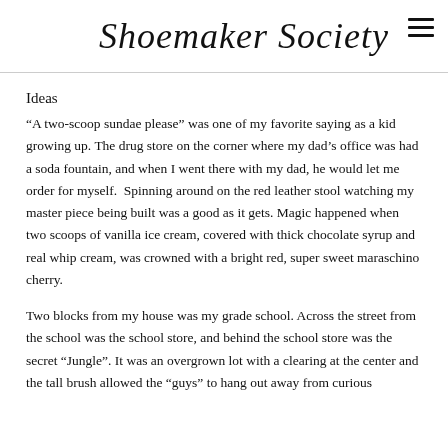Shoemaker Society
Ideas
“A two-scoop sundae please” was one of my favorite saying as a kid growing up. The drug store on the corner where my dad’s office was had a soda fountain, and when I went there with my dad, he would let me order for myself.  Spinning around on the red leather stool watching my master piece being built was a good as it gets. Magic happened when two scoops of vanilla ice cream, covered with thick chocolate syrup and real whip cream, was crowned with a bright red, super sweet maraschino cherry.
Two blocks from my house was my grade school. Across the street from the school was the school store, and behind the school store was the secret “Jungle”. It was an overgrown lot with a clearing at the center and the tall brush allowed the “guys” to hang out away from curious